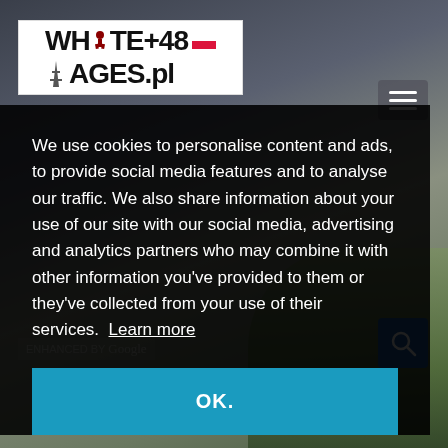[Figure (screenshot): WhitePages.pl logo with +48 and Polish flag on white background]
[Figure (screenshot): Hamburger menu button (three horizontal lines) on dark semi-transparent background]
We use cookies to personalise content and ads, to provide social media features and to analyse our traffic. We also share information about your use of our site with our social media, advertising and analytics partners who may combine it with other information you've provided to them or they've collected from your use of their services. Learn more
[Figure (screenshot): OK. button on teal/blue background]
[Figure (screenshot): Search magnifying glass button on blue background, bottom right]
[Figure (photo): Background photo of dark stormy sky with green trees at bottom right and a building structure visible]